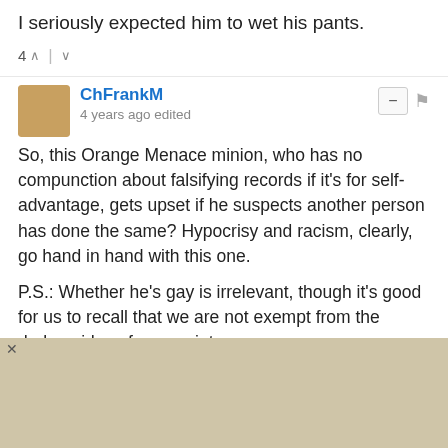I seriously expected him to wet his pants.
4 ∧ | ∨
ChFrankM
4 years ago edited
So, this Orange Menace minion, who has no compunction about falsifying records if it's for self-advantage, gets upset if he suspects another person has done the same? Hypocrisy and racism, clearly, go hand in hand with this one.
P.S.: Whether he's gay is irrelevant, though it's good for us to recall that we are not exempt from the darker sides of our society.
3 ∧ | ∨
Rad
4 years ago